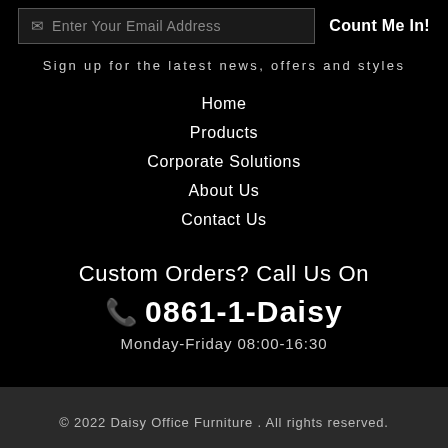Enter Your Email Address
Count Me In!
Sign up for the latest news, offers and styles
Home
Products
Corporate Solutions
About Us
Contact Us
Custom Orders? Call Us On
0861-1-Daisy
Monday-Friday 08:00-16:30
© 2022 Daisy Office Furniture . All rights reserved.